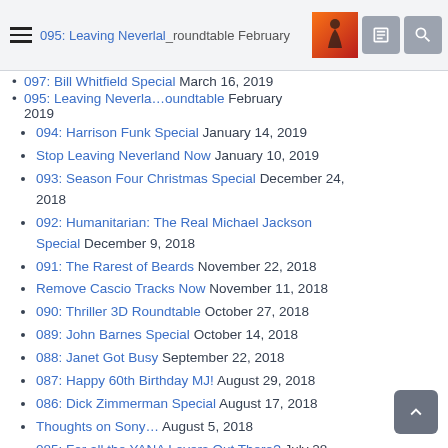Menu | 095: Leaving Neverland Roundtable February 2019 | [link icon] [search icon]
097: Bill Whitfield Special March 16, 2019 (partial)
094: Harrison Funk Special January 14, 2019
Stop Leaving Neverland Now January 10, 2019
093: Season Four Christmas Special December 24, 2018
092: Humanitarian: The Real Michael Jackson Special December 9, 2018
091: The Rarest of Beards November 22, 2018
Remove Cascio Tracks Now November 11, 2018
090: Thriller 3D Roundtable October 27, 2018
089: John Barnes Special October 14, 2018
088: Janet Got Busy September 22, 2018
087: Happy 60th Birthday MJ! August 29, 2018
086: Dick Zimmerman Special August 17, 2018
Thoughts on Sony… August 5, 2018
085: For all the YANA Lovers Out There? July 28, 2018
084: Judith Hill Special July 13, 2018
083: Reflections on Joseph Jackson Roundtable July 2, 2018
082: June 25th Special with Damien Shields and TJ June 2018 (partial)